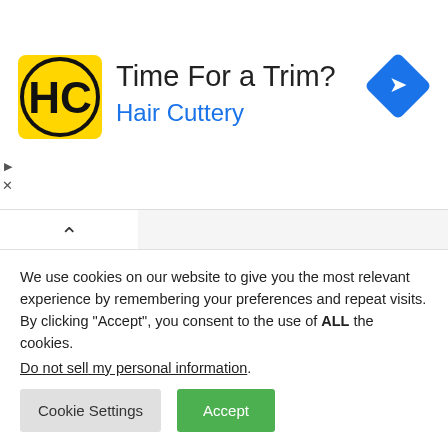[Figure (logo): Hair Cuttery advertisement banner with HC logo, 'Time For a Trim?' heading, 'Hair Cuttery' subtitle in blue, and a blue navigation arrow icon on the right]
Dog Training Tips
Dog Training At Home
How to Potty Train your Puppy EASILY
We use cookies on our website to give you the most relevant experience by remembering your preferences and repeat visits. By clicking “Accept”, you consent to the use of ALL the cookies. Do not sell my personal information.